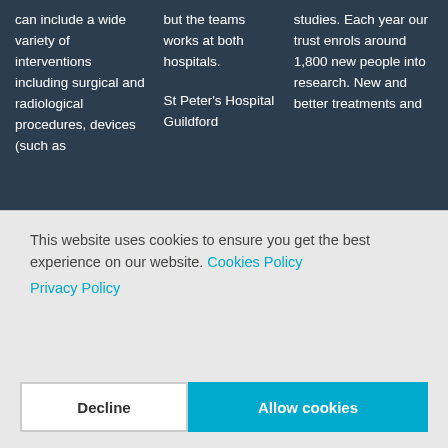can include a wide variety of interventions including surgical and radiological procedures, devices (such as
but the teams works at both hospitals.

St Peter's Hospital Guildford
studies. Each year our trust enrols around 1,800 new people into research. New and better treatments and
This website uses cookies to ensure you get the best experience on our website. Cookies Policy
Privacy Policy
Decline
Allow cookies